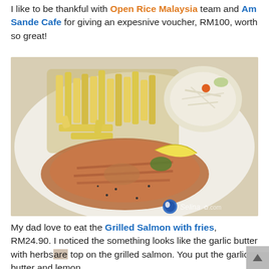I like to be thankful with Open Rice Malaysia team and Am Sande Cafe for giving an expesnive voucher, RM100, worth so great!
[Figure (photo): A plate of grilled salmon steak with French fries and coleslaw salad, garnished with a lemon wedge and herb butter on top of the salmon. Watermark: Selina*.com in bottom right corner.]
My dad love to eat the Grilled Salmon with fries, RM24.90. I noticed the something looks like the garlic butter with herbs are top on the grilled salmon. You put the garlic butter and lemon